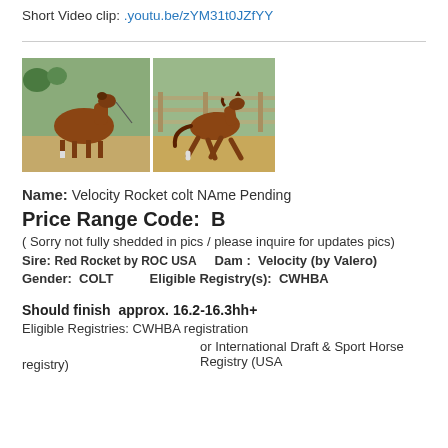Short Video clip: .youtu.be/zYM31t0JZfYY
[Figure (photo): Two photos of a chestnut horse/colt side by side. Left photo shows horse standing, right photo shows colt trotting in a paddock.]
Name:  Velocity Rocket colt NAme  Pending
Price Range Code:  B
( Sorry not fully shedded in pics / please inquire for updates pics)
Sire: Red Rocket by ROC USA     Dam :  Velocity (by Valero)
Gender:  COLT         Eligible Registry(s):  CWHBA
Should finish  approx. 16.2-16.3hh+
Eligible Registries: CWHBA registration
                          or International Draft & Sport Horse Registry (USA registry)